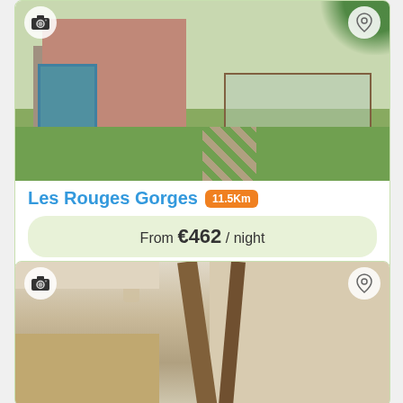[Figure (photo): Exterior photo of a French country house with pink/terracotta walls, blue-framed windows, stone facade, and a glass conservatory on the right, with a green garden and stone path]
Les Rouges Gorges 11.5Km
From €462 / night
Book Now
[Figure (photo): Interior photo showing wooden beams and a staircase inside a rustic French property]